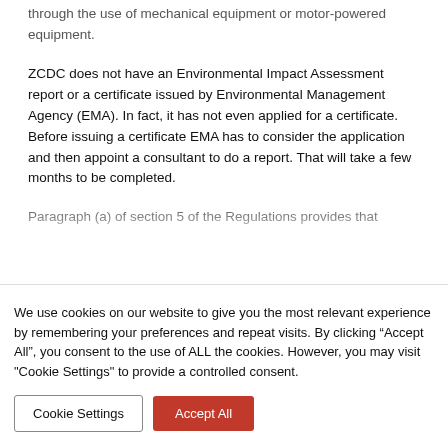through the use of mechanical equipment or motor-powered equipment.
ZCDC does not have an Environmental Impact Assessment report or a certificate issued by Environmental Management Agency (EMA). In fact, it has not even applied for a certificate. Before issuing a certificate EMA has to consider the application and then appoint a consultant to do a report. That will take a few months to be completed.
Paragraph (a) of section 5 of the Regulations provides that
We use cookies on our website to give you the most relevant experience by remembering your preferences and repeat visits. By clicking “Accept All”, you consent to the use of ALL the cookies. However, you may visit "Cookie Settings" to provide a controlled consent.